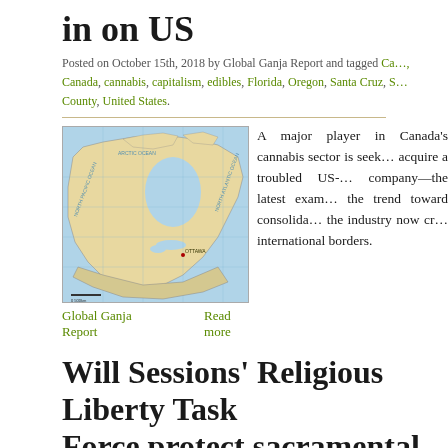in on US
Posted on October 15th, 2018 by Global Ganja Report and tagged Ca…, Canada, cannabis, capitalism, edibles, Florida, Oregon, Santa Cruz, S…County, United States.
[Figure (map): Map of Canada and northern North America]
A major player in Canada's cannabis sector is seek… acquire a troubled US-… company—the latest exam… the trend toward consolida… the industry now cr… international borders.
Global Ganja Report   Read more
Will Sessions' Religious Liberty Task Force protect sacramental cannabis use?
Posted on August 7th, 2018 by Bill Weinberg and tagged Caribbean, e…